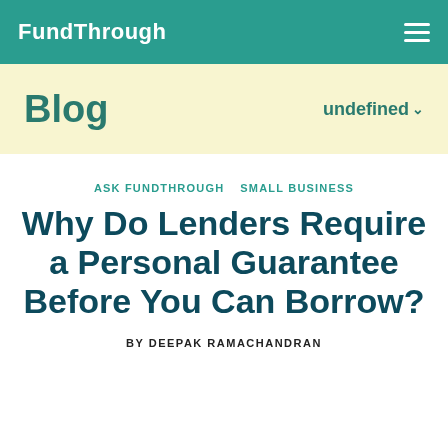FundThrough
Blog
undefined
ASK FUNDTHROUGH  SMALL BUSINESS
Why Do Lenders Require a Personal Guarantee Before You Can Borrow?
BY DEEPAK RAMACHANDRAN